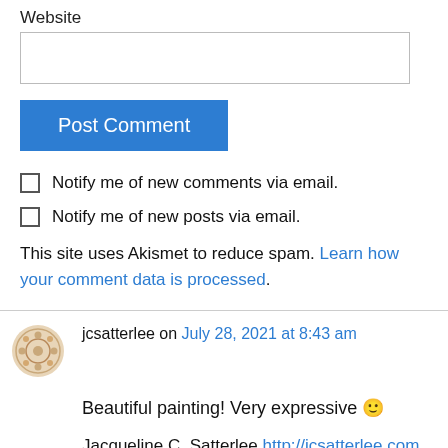Website
Post Comment
Notify me of new comments via email.
Notify me of new posts via email.
This site uses Akismet to reduce spam. Learn how your comment data is processed.
jcsatterlee on July 28, 2021 at 8:43 am
Beautiful painting! Very expressive 🙂
Jacqueline C. Satterlee http://jcsatterlee.com